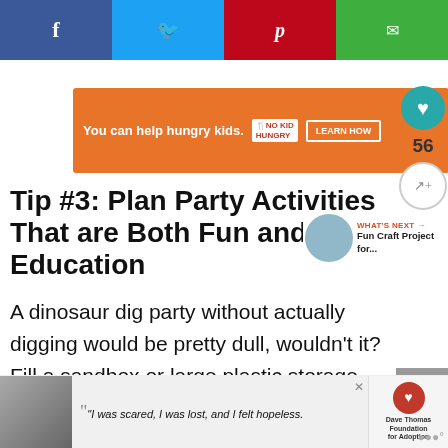[Figure (screenshot): Social media share bar with Facebook (blue), Twitter (cyan), Pinterest (red), and Email (green) buttons]
[Figure (screenshot): Orange advertisement banner: 'You can help hungry kids. NO KID HUNGRY. LEARN HOW']
[Figure (screenshot): Teal heart button with count 56 and share icon on right sidebar]
Tip #3: Plan Party Activities That are Both Fun and Educational
[Figure (screenshot): WHAT'S NEXT → Fun Craft Project for... with circular thumbnail image]
A dinosaur dig party without actually digging would be pretty dull, wouldn't it? Fill a sandbox or large plastic storage bins with sand and hide plastic dinosaur
[Figure (screenshot): Bottom advertisement: 'I was scared, I was lost, and I felt hopeless.' Dave Thomas Foundation for Adoption]